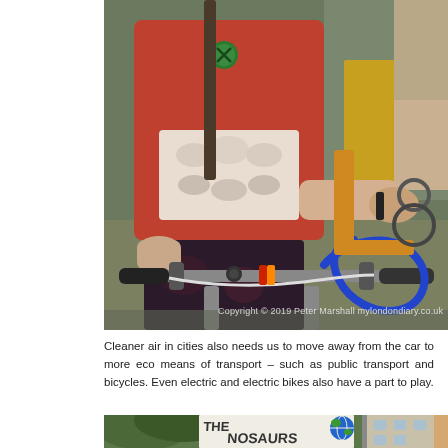[Figure (photo): Close-up photograph of a woman in a red floral top with white lace trim and an Extinction Rebellion badge, riding a bicycle. Multiple bikes visible in the background on a city street. Copyright watermark reads: Copyright © 2019 Peter Marshall mylondondiary.co.uk]
Cleaner air in cities also needs us to move away from the car to more eco means of transport – such as public transport and bicycles. Even electric and electric bikes also have a part to play.
[Figure (photo): Bottom portion of a protest scene showing a sign that reads 'THE NOSAURS' with a globe illustration, and green trees and a building in the background.]